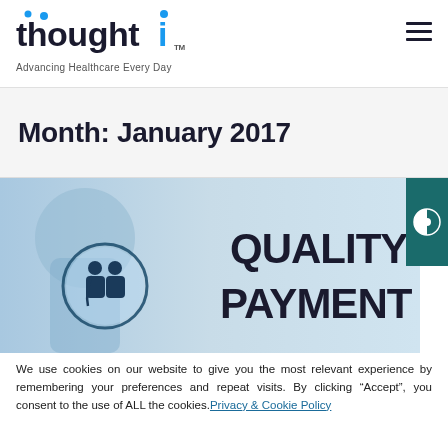[Figure (logo): thought1 logo with blue dots and 'i' character, tagline: Advancing Healthcare Every Day]
Month: January 2017
[Figure (photo): Medical image showing a doctor with stethoscope and a circular icon with doctor-patient figures, with 'QUALITY PAYMENT' text overlay in bold dark letters]
We use cookies on our website to give you the most relevant experience by remembering your preferences and repeat visits. By clicking “Accept”, you consent to the use of ALL the cookies. Privacy & Cookie Policy